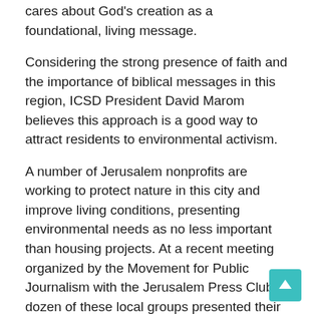cares about God's creation as a foundational, living message.
Considering the strong presence of faith and the importance of biblical messages in this region, ICSD President David Marom believes this approach is a good way to attract residents to environmental activism.
A number of Jerusalem nonprofits are working to protect nature in this city and improve living conditions, presenting environmental needs as no less important than housing projects. At a recent meeting organized by the Movement for Public Journalism with the Jerusalem Press Club, a dozen of these local groups presented their activities for nature and the environment across the city, including in the areas haredi and arabic.
MPJ founder and director Yair Tarchitsky says Jerusalem has an impressive list of such organizations because many residents from different sectors care enough about the environment to